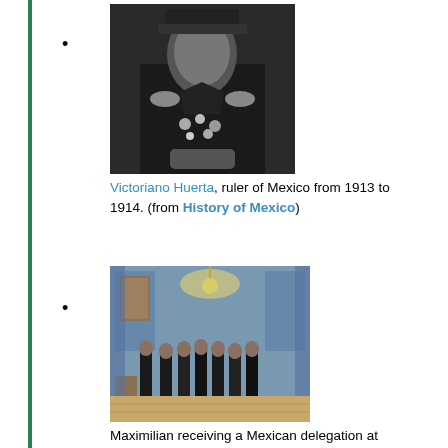[Figure (photo): Black and white photograph of Victoriano Huerta in military uniform with medals]
Victoriano Huerta, ruler of Mexico from 1913 to 1914. (from History of Mexico)
[Figure (photo): Color painting showing Maximilian receiving a Mexican delegation at Miramare Castle, by Cesare dell'Acqua (1821-1905)]
Maximilian receiving a Mexican delegation at Miramare Castle in Trieste. Painting by Cesare dell'Acqua (1821-1905). (from